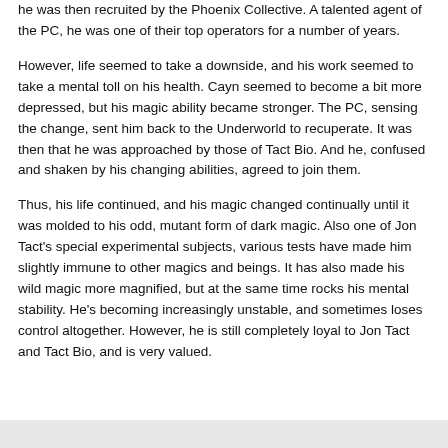he was then recruited by the Phoenix Collective. A talented agent of the PC, he was one of their top operators for a number of years.
However, life seemed to take a downside, and his work seemed to take a mental toll on his health. Cayn seemed to become a bit more depressed, but his magic ability became stronger. The PC, sensing the change, sent him back to the Underworld to recuperate. It was then that he was approached by those of Tact Bio. And he, confused and shaken by his changing abilities, agreed to join them.
Thus, his life continued, and his magic changed continually until it was molded to his odd, mutant form of dark magic. Also one of Jon Tact's special experimental subjects, various tests have made him slightly immune to other magics and beings. It has also made his wild magic more magnified, but at the same time rocks his mental stability. He's becoming increasingly unstable, and sometimes loses control altogether. However, he is still completely loyal to Jon Tact and Tact Bio, and is very valued.